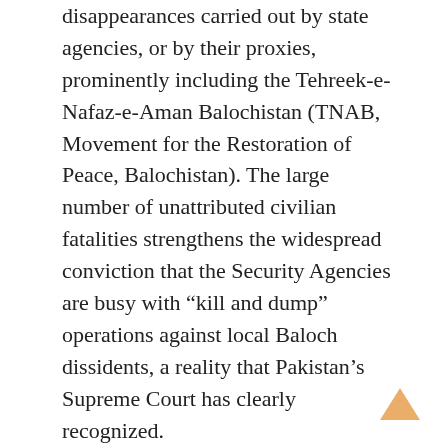disappearances carried out by state agencies, or by their proxies, prominently including the Tehreek-e-Nafaz-e-Aman Balochistan (TNAB, Movement for the Restoration of Peace, Balochistan). The large number of unattributed civilian fatalities strengthens the widespread conviction that the Security Agencies are busy with “kill and dump” operations against local Baloch dissidents, a reality that Pakistan’s Supreme Court has clearly recognized.
According to the Federal Ministry of Human Rights, at least 936 dead bodies of ‘disappeared’ persons, often mutilated and bearing the signs of torture, have been found in Balochistan since 2011. Figures obtained from the Federal Ministry of Human Rights by the BBC Urdu on December 30, 2016, pointed to large-scale extrajudicial killings by state agencies and their proxies. Most of the bodies were